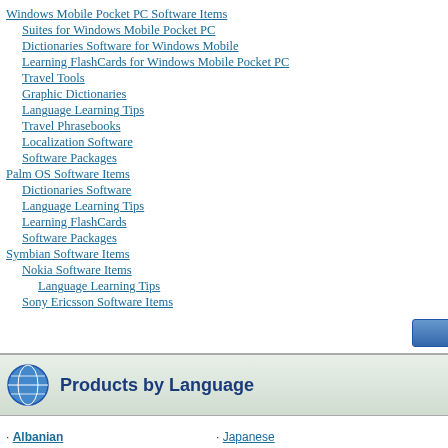Windows Mobile Pocket PC Software Items
Suites for Windows Mobile Pocket PC
Dictionaries Software for Windows Mobile
Learning FlashCards for Windows Mobile Pocket PC
Travel Tools
Graphic Dictionaries
Language Learning Tips
Travel Phrasebooks
Localization Software
Software Packages
Palm OS Software Items
Dictionaries Software
Language Learning Tips
Learning FlashCards
Software Packages
Symbian Software Items
Nokia Software Items
Language Learning Tips
Sony Ericsson Software Items
Products by Language
Albanian, Arabic, Armenian, Azeri, Bengali, Bosnian, Bulgarian, Chinese Simpl., Chinese Trad., Croatian, Czech
Japanese, Korean, Latin, Latvian, Lithuanian, Multilingual, Norwegian, Persian(Farsi), Polish, Portuguese, Romanian
[Figure (screenshot): Mobile app screenshot showing categories: Basics, Traveling, Local transport, Sightseeing, Communication means, In the restaurant, Shopping, Repairs/Laundry, Health/Drugstore, Beauty Care with icons for each category]
Order Now